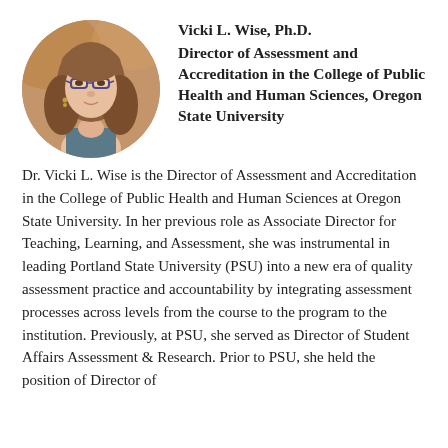[Figure (photo): Circular portrait photo of Vicki L. Wise, Ph.D. — a woman with glasses and shoulder-length brown hair.]
Vicki L. Wise, Ph.D.
Director of Assessment and Accreditation in the College of Public Health and Human Sciences, Oregon State University
Dr. Vicki L. Wise is the Director of Assessment and Accreditation in the College of Public Health and Human Sciences at Oregon State University. In her previous role as Associate Director for Teaching, Learning, and Assessment, she was instrumental in leading Portland State University (PSU) into a new era of quality assessment practice and accountability by integrating assessment processes across levels from the course to the program to the institution. Previously, at PSU, she served as Director of Student Affairs Assessment & Research. Prior to PSU, she held the position of Director of